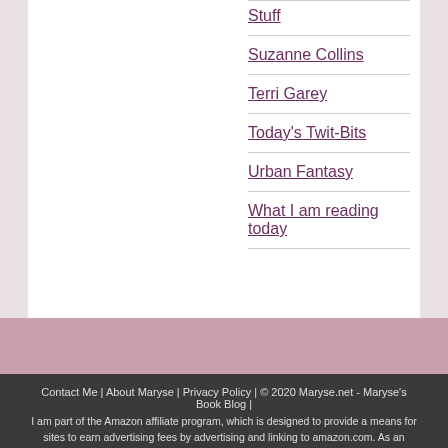Stuff
Suzanne Collins
Terri Garey
Today's Twit-Bits
Urban Fantasy
What I am reading today
Contact Me | About Maryse | Privacy Policy | © 2020 Maryse.net - Maryse's Book Blog | I am part of the Amazon affiliate program, which is designed to provide a means for sites to earn advertising fees by advertising and linking to amazon.com. As an Amazon Associate I earn from qualifying purchases. Other than potential affiliate link commissions, I receive no compensation for